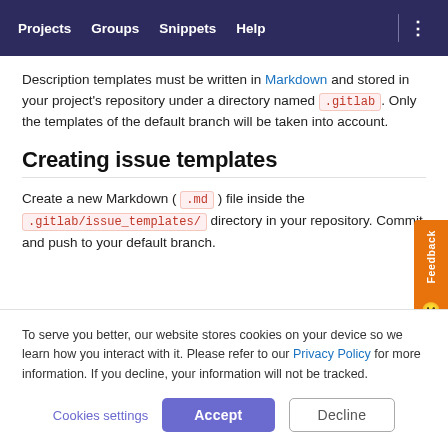Projects   Groups   Snippets   Help
Description templates must be written in Markdown and stored in your project's repository under a directory named .gitlab . Only the templates of the default branch will be taken into account.
Creating issue templates
Create a new Markdown ( .md ) file inside the .gitlab/issue_templates/ directory in your repository. Commit and push to your default branch.
To serve you better, our website stores cookies on your device so we learn how you interact with it. Please refer to our Privacy Policy for more information. If you decline, your information will not be tracked.